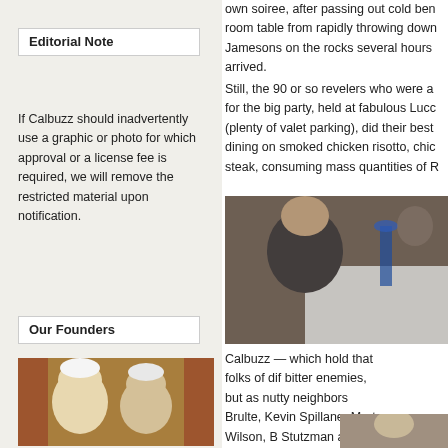Editorial Note
If Calbuzz should inadvertently use a graphic or photo for which approval or a license fee is required, we will remove the restricted material upon notification.
Our Founders
[Figure (photo): Two Muppet characters (Statler and Waldorf) peering over a ledge in a theater box, with red ornate chairs in background]
own soiree, after passing out cold ben room table from rapidly throwing down Jamesons on the rocks several hours arrived.
Still, the 90 or so revelers who were a for the big party, held at fabulous Lucc (plenty of valet parking), did their best dining on smoked chicken risotto, chic steak, consuming mass quantities of R
[Figure (photo): Man seated at a dinner table in a restaurant setting, with blue stemware and white tablecloth visible]
Calbuzz — which hold that folks of dif bitter enemies, but as nutty neighbors Brulte, Kevin Spillane, Marty Wilson, B Stutzman and Mitch Zak for being the the stones to show up) mixed and mingled with leading Democratic lights, including Tom Quinn, David Townsend, Joe Trippi, Donna Rainsley, Jim Moore, Steve Glann
[Figure (photo): Person with curly gray hair, partial view]